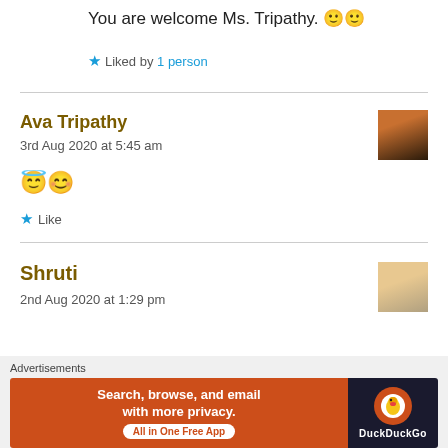You are welcome Ms. Tripathy. 🙂🙂
★ Liked by 1 person
Ava Tripathy
3rd Aug 2020 at 5:45 am
😇😊
★ Like
Shruti
2nd Aug 2020 at 1:29 pm
Advertisements
Search, browse, and email with more privacy. All in One Free App
DuckDuckGo